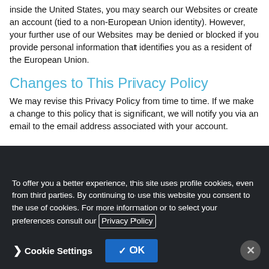inside the United States, you may search our Websites or create an account (tied to a non-European Union identity). However, your further use of our Websites may be denied or blocked if you provide personal information that identifies you as a resident of the European Union.
Changes to This Privacy Policy
We may revise this Privacy Policy from time to time. If we make a change to this policy that is significant, we will notify you via an email to the email address associated with your account.
To offer you a better experience, this site uses profile cookies, even from third parties. By continuing to use this website you consent to the use of cookies. For more information or to select your preferences consult our Privacy Policy